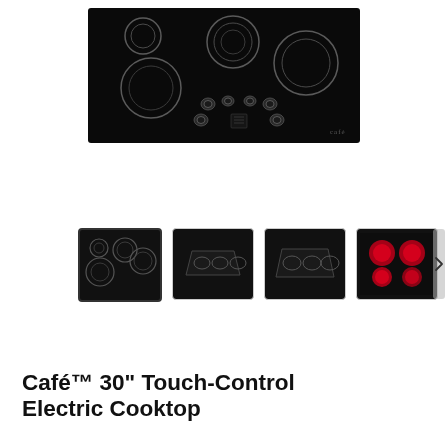[Figure (photo): Black ceramic electric cooktop with 5 burners arranged on matte black surface, showing circular heating elements and touch controls in center bottom. Café brand logo visible in lower right corner.]
[Figure (photo): Thumbnail 1 (selected): Top-down view of black Café electric cooktop with 5 circular burner rings visible.]
[Figure (photo): Thumbnail 2: Angled side view of black cooktop showing the trapezoidal profile shape.]
[Figure (photo): Thumbnail 3: Angled front view of black cooktop with glowing red burners.]
[Figure (photo): Thumbnail 4: Close-up of 4 glowing red heating elements on the black cooktop surface.]
Café™ 30" Touch-Control Electric Cooktop